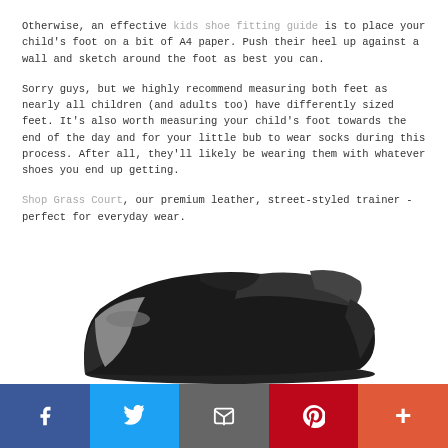Otherwise, an effective kids shoe fitting guide is to place your child's foot on a bit of A4 paper. Push their heel up against a wall and sketch around the foot as best you can.
Sorry guys, but we highly recommend measuring both feet as nearly all children (and adults too) have differently sized feet. It's also worth measuring your child's foot towards the end of the day and for your little bub to wear socks during this process. After all, they'll likely be wearing them with whatever shoes you end up getting.
Shop Grass Court, our premium leather, street-styled trainer - perfect for everyday wear.
[Figure (photo): Black leather children's shoe with velcro strap, side profile view, partially cropped at bottom of frame]
Social share bar with Facebook, Twitter, Email, Pinterest, and More buttons